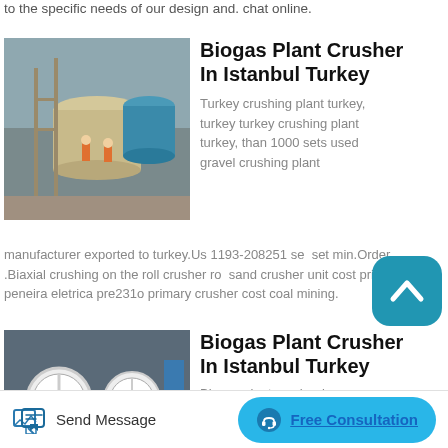to the specific needs of our design and. chat online.
[Figure (photo): Industrial crusher/grinding plant machinery with workers in orange safety gear]
Biogas Plant Crusher In Istanbul Turkey
Turkey crushing plant turkey, turkey turkey crushing plant turkey, than 1000 sets used gravel crushing plant manufacturer exported to turkey.Us 1193-208251 set set min.Order .Biaxial crushing on the roll crusher ro sand crusher unit cost prices peneira eletrica pre231o primary crusher cost coal mining.
[Figure (photo): Industrial jaw crusher machinery in a factory]
Biogas Plant Crusher In Istanbul Turkey
Biogas plant crusher in...